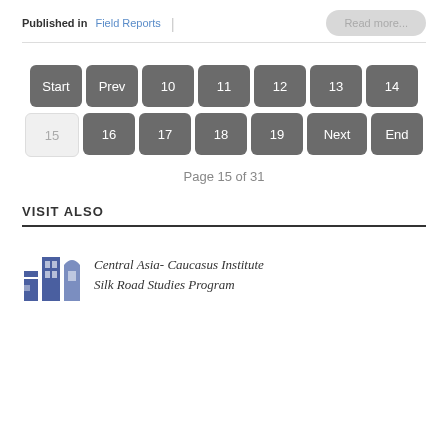Published in  Field Reports
Read more...
[Figure (screenshot): Pagination navigation buttons: Start, Prev, 10, 11, 12, 13, 14 on first row; 15 (current, highlighted), 16, 17, 18, 19, Next, End on second row. Page 15 of 31.]
Page 15 of 31
VISIT ALSO
[Figure (logo): Central Asia-Caucasus Institute Silk Road Studies Program logo with blue building graphic]